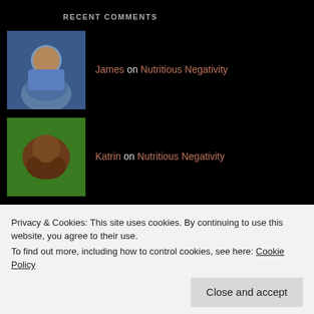RECENT COMMENTS
James on Nutritious Negativity
Katrin on Nutritious Negativity
Sachi PA on The Cost Of Disability: Or, Wh…
Hélène Maisonneuve on Sunrises, Sunsets, and Other P…
cdlawrence on Happy, Capable, Aggressively O…
Privacy & Cookies: This site uses cookies. By continuing to use this website, you agree to their use.
To find out more, including how to control cookies, see here: Cookie Policy
Close and accept